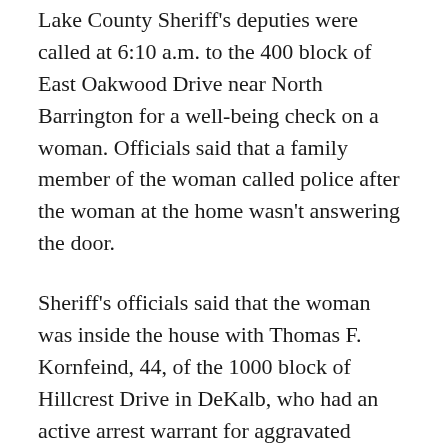Lake County Sheriff's deputies were called at 6:10 a.m. to the 400 block of East Oakwood Drive near North Barrington for a well-being check on a woman. Officials said that a family member of the woman called police after the woman at the home wasn't answering the door.
Sheriff's officials said that the woman was inside the house with Thomas F. Kornfeind, 44, of the 1000 block of Hillcrest Drive in DeKalb, who had an active arrest warrant for aggravated domestic battery, aggravated battery and unlawful interference with the reporting of domestic violence.